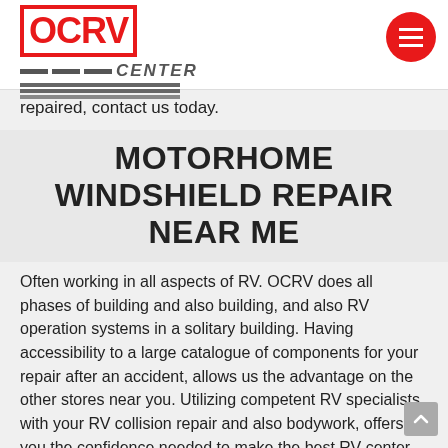OCRV CENTER
repaired, contact us today.
MOTORHOME WINDSHIELD REPAIR NEAR ME
Often working in all aspects of RV. OCRV does all phases of building and also building, and also RV operation systems in a solitary building. Having accessibility to a large catalogue of components for your repair after an accident, allows us the advantage on the other stores near you. Utilizing competent RV specialists with your RV collision repair and also bodywork, offers you the confidence needed to make the best RV center choice. If your RV has been associated with an accident or you are looking for RV accident repair to be finished near you, call us today. Whether your looking for a RV roofing system replacement, body repair or